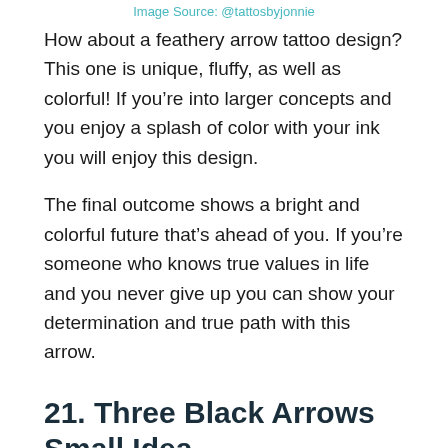Image Source: @tattosbyjonnie
How about a feathery arrow tattoo design? This one is unique, fluffy, as well as colorful! If you’re into larger concepts and you enjoy a splash of color with your ink you will enjoy this design.
The final outcome shows a bright and colorful future that’s ahead of you. If you’re someone who knows true values in life and you never give up you can show your determination and true path with this arrow.
21. Three Black Arrows Small Idea
[Figure (photo): Partial gray/white image area at bottom of page]